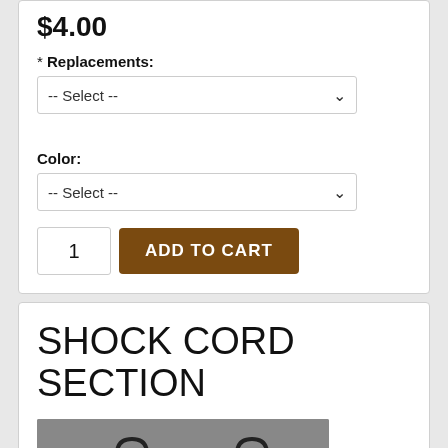$4.00
* Replacements:
-- Select --
Color:
-- Select --
1
ADD TO CART
SHOCK CORD SECTION
[Figure (photo): Photo of shock cord sections showing two elastic cord pieces with metal end fittings on a gray background]